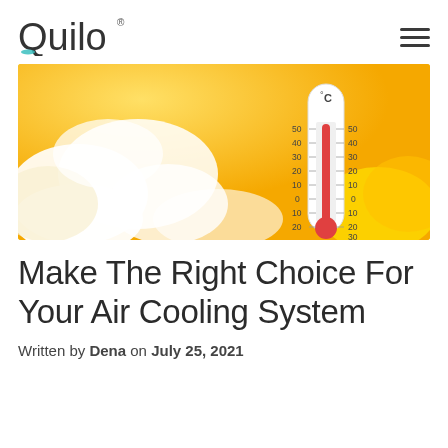Quilo
[Figure (photo): A thermometer showing Celsius scale with readings up to 50 and down to -30, against a bright yellow sunny sky with white clouds background]
Make The Right Choice For Your Air Cooling System
Written by Dena on July 25, 2021